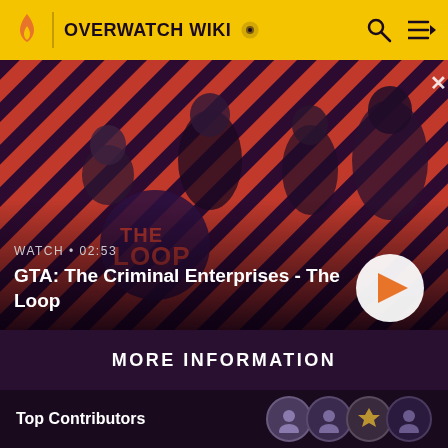OVERWATCH WIKI
[Figure (screenshot): Video thumbnail for GTA: The Criminal Enterprises - The Loop, showing 4 characters on a red and dark diagonal striped background. Characters include a masked tactical soldier with a rifle, a woman in black, a man in casual wear, and another male character. Duration shown as 02:53.]
WATCH • 02:53
GTA: The Criminal Enterprises - The Loop
MORE INFORMATION
Top Contributors